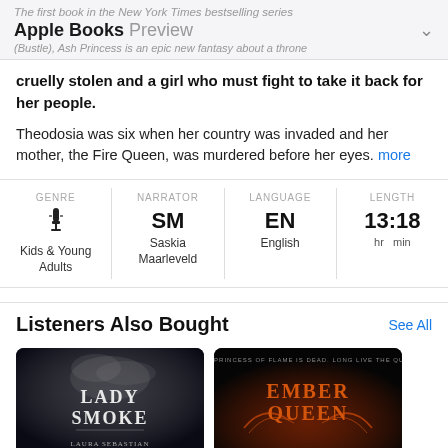Apple Books Preview
cruelly stolen and a girl who must fight to take it back for her people.
Theodosia was six when her country was invaded and her mother, the Fire Queen, was murdered before her eyes. more
| GENRE | NARRATOR | LANGUAGE | LENGTH |
| --- | --- | --- | --- |
| Kids & Young Adults | SM
Saskia Maarleveld | EN
English | 13:18
hr  min |
Listeners Also Bought
See All
[Figure (illustration): Book cover for Lady Smoke — dark background with smoky white text]
[Figure (illustration): Book cover for Ember Queen — dark background with glowing orange text and wings]